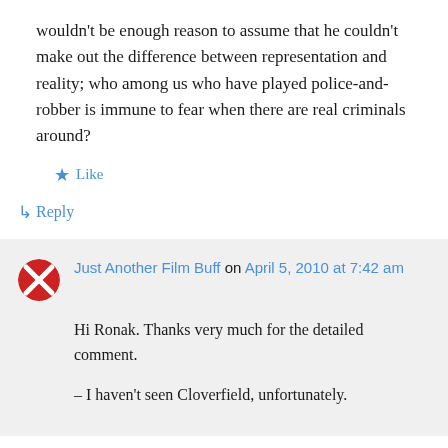wouldn't be enough reason to assume that he couldn't make out the difference between representation and reality; who among us who have played police-and-robber is immune to fear when there are real criminals around?
★ Like
↳ Reply
Just Another Film Buff on April 5, 2010 at 7:42 am
Hi Ronak. Thanks very much for the detailed comment.
– I haven't seen Cloverfield, unfortunately.